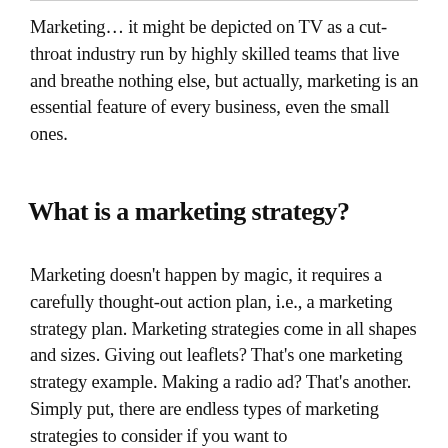Marketing… it might be depicted on TV as a cut-throat industry run by highly skilled teams that live and breathe nothing else, but actually, marketing is an essential feature of every business, even the small ones.
What is a marketing strategy?
Marketing doesn't happen by magic, it requires a carefully thought-out action plan, i.e., a marketing strategy plan. Marketing strategies come in all shapes and sizes. Giving out leaflets? That's one marketing strategy example. Making a radio ad? That's another. Simply put, there are endless types of marketing strategies to consider if you want to